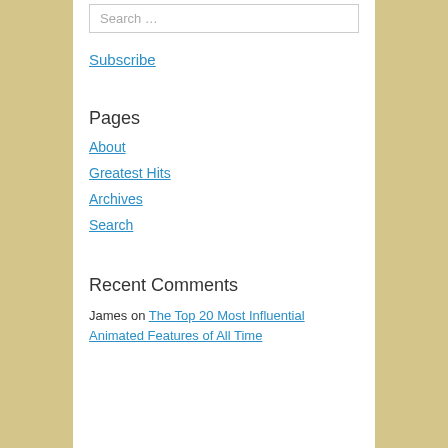Search …
Subscribe
Pages
About
Greatest Hits
Archives
Search
Recent Comments
James on The Top 20 Most Influential Animated Features of All Time